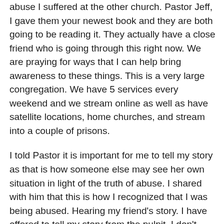abuse I suffered at the other church. Pastor Jeff, I gave them your newest book and they are both going to be reading it. They actually have a close friend who is going through this right now. We are praying for ways that I can help bring awareness to these things. This is a very large congregation. We have 5 services every weekend and we stream online as well as have satellite locations, home churches, and stream into a couple of prisons.
I told Pastor it is important for me to tell my story as that is how someone else may see her own situation in light of the truth of abuse. I shared with him that this is how I recognized that I was being abused. Hearing my friend's story. I have offered to tell my story from the pulpit. I don't